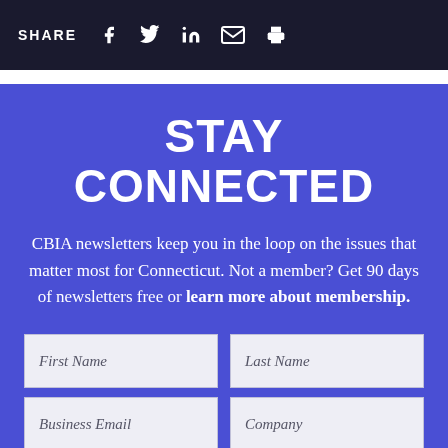SHARE
STAY CONNECTED
CBIA newsletters keep you in the loop on the issues that matter most for Connecticut. Not a member? Get 90 days of newsletters free or learn more about membership.